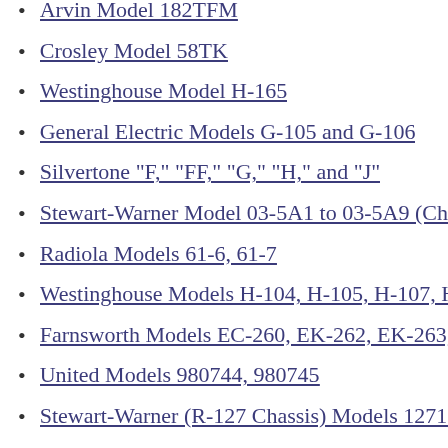Arvin Model 182TFM
Crosley Model 58TK
Westinghouse Model H-165
General Electric Models G-105 and G-106
Silvertone "F," "FF," "G," "H," and "J"
Stewart-Warner Model 03-5A1 to 03-5A9 (Chassis 03-5A…
Radiola Models 61-6, 61-7
Westinghouse Models H-104, H-105, H-107, H-108
Farnsworth Models EC-260, EK-262, EK-263, EK-264, E…
United Models 980744, 980745
Stewart-Warner (R-127 Chassis) Models 1271 to 1279 All-…
ERLA Model 4500 Dual-Wave T.R.F. 4-Tube A.C. Receiv…